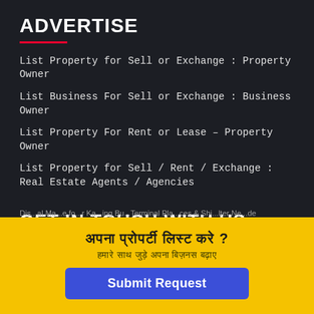ADVERTISE
List Property for Sell or Exchange : Property Owner
List Business For Sell or Exchange : Business Owner
List Property For Rent or Lease – Property Owner
List Property for Sell / Rent / Exchange : Real Estate Agents / Agencies
GET IN TOUCH WITH US
Hot Properties
अपना प्रोपर्टी लिस्ट करे ?
हमारे साथ जुड़े अपना बिज़नस बढ़ाए
Submit Request